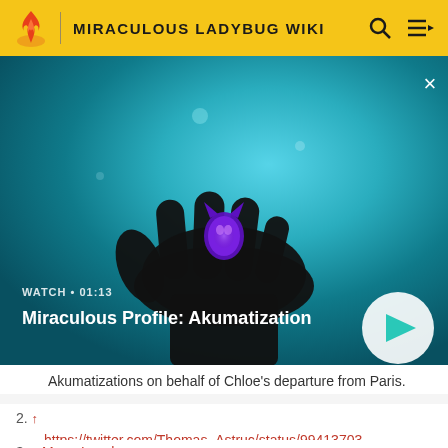MIRACULOUS LADYBUG WIKI
[Figure (screenshot): Video thumbnail showing a dark gloved hand holding a small purple glowing cat miraculous charm against a teal/cyan blurred background. Overlay text reads 'WATCH · 01:13' and title 'Miraculous Profile: Akumatization' with a play button on the right.]
Akumatizations on behalf of Chloe's departure from Paris.
2. ↑ https://twitter.com/Thomas_Astruc/status/994137034037002240
3. ↑ Mega Leech